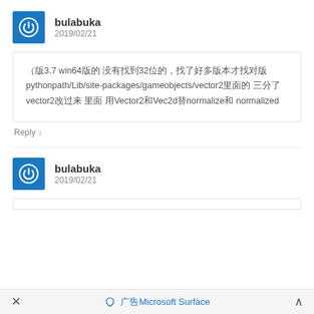bulabuka
2019/02/21
（版3.7 win64版的 没有找到32位的，找了好多版本才找对版 pythonpath/Lib/site-packages/gameobjects/vector2里面的 三分了vector2改过来 里面 用Vector2和Vec2d替normalize和 normalized
Reply ↓
bulabuka
2019/02/21
✕  🏷 广告Microsoft Surface  ∧